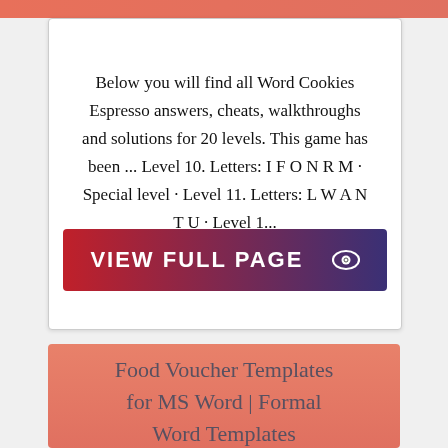Below you will find all Word Cookies Espresso answers, cheats, walkthroughs and solutions for 20 levels. This game has been ... Level 10. Letters: I F O N R M · Special level · Level 11. Letters: L W A N T U · Level 1...
[Figure (other): A button reading 'VIEW FULL PAGE' with an eye icon, gradient from red on left to dark blue on right]
Food Voucher Templates for MS Word | Formal Word Templates